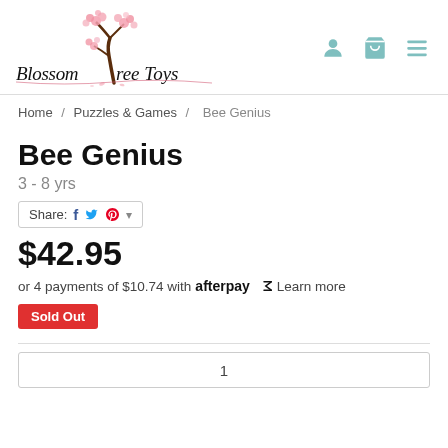[Figure (logo): Blossom Tree Toys logo with cherry blossom tree illustration and stylized text]
Home / Puzzles & Games / Bee Genius
Bee Genius
3 - 8 yrs
Share: [Facebook] [Twitter] [Pinterest] ▾
$42.95
or 4 payments of $10.74 with afterpay Learn more
Sold Out
1